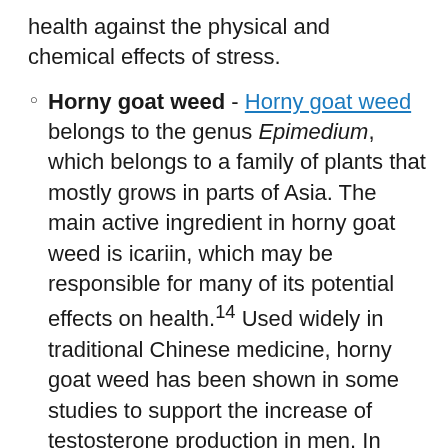health against the physical and chemical effects of stress.
Horny goat weed - Horny goat weed belongs to the genus Epimedium, which belongs to a family of plants that mostly grows in parts of Asia. The main active ingredient in horny goat weed is icariin, which may be responsible for many of its potential effects on health.14 Used widely in traditional Chinese medicine, horny goat weed has been shown in some studies to support the increase of testosterone production in men. In men and women, the